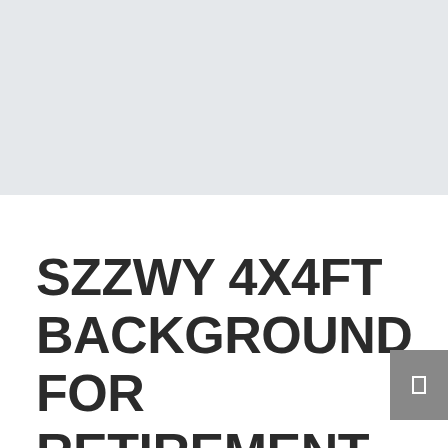[Figure (other): Gray background area occupying the top portion of the page]
SZZWY 4X4FT BACKGROUND FOR RETIREMENT WOODEN INDICATOR ON BEACH